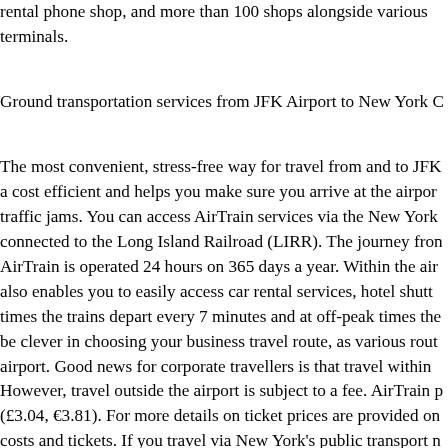rental phone shop, and more than 100 shops alongside various terminals.
Ground transportation services from JFK Airport to New York C
The most convenient, stress-free way for travel from and to JFK a cost efficient and helps you make sure you arrive at the airport traffic jams. You can access AirTrain services via the New York connected to the Long Island Railroad (LIRR). The journey from AirTrain is operated 24 hours on 365 days a year. Within the air also enables you to easily access car rental services, hotel shutt times the trains depart every 7 minutes and at off-peak times the be clever in choosing your business travel route, as various rout airport. Good news for corporate travellers is that travel within However, travel outside the airport is subject to a fee. AirTrain p (£3.04, €3.81). For more details on ticket prices are provided on costs and tickets. If you travel via New York's public transport MetroCard, which is widely accepted and is worth to purchase for buses. You can find vending machines for buying a MetroCard a